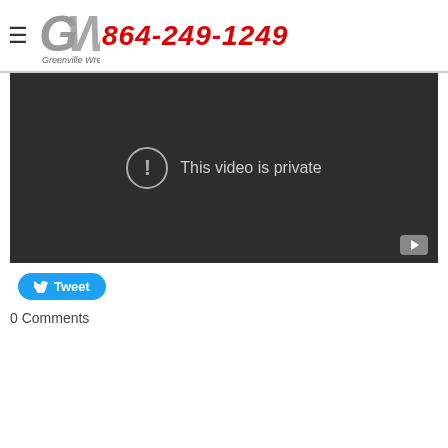GW 864-249-1249 Greenville Wrecker
[Figure (screenshot): YouTube video embed showing 'This video is private' message on dark background with YouTube play button icon in corner]
Tweet
0 Comments